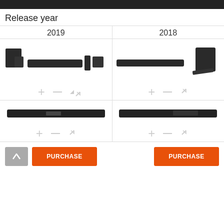Release year
2019
2018
[Figure (photo): LG soundbar system with wireless rear speakers and subwoofer - 2019 model]
[Figure (photo): LG soundbar system with subwoofer and remote - 2018 model]
[Figure (photo): LG soundbar slim - 2019 model]
[Figure (photo): LG soundbar slim - 2018 model]
PURCHASE
PURCHASE